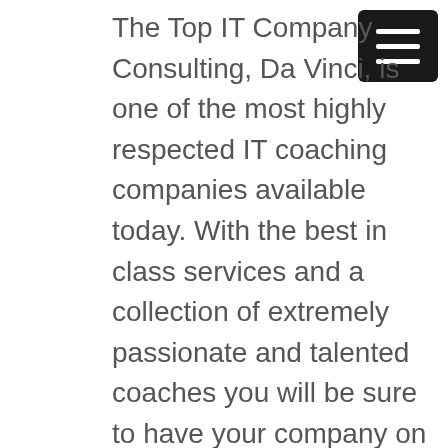The Top IT Company Consulting, Da Vinci, is one of the most highly respected IT coaching companies available today. With the best in class services and a collection of extremely passionate and talented coaches you will be sure to have your company on the right path to success. Da Vinci can either help you start your own managed service provider or even help you assess and better your current managed service provider. Whether your current MSP needs attention or you're wanting to start your own MSP or it company da Vinci is the